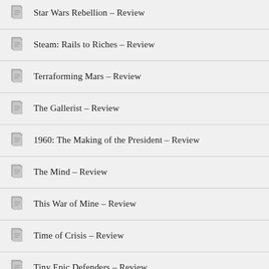Star Wars Rebellion – Review
Steam: Rails to Riches – Review
Terraforming Mars – Review
The Gallerist – Review
1960: The Making of the President – Review
The Mind – Review
This War of Mine – Review
Time of Crisis – Review
Tiny Epic Defenders – Review
Tiny Epic Quest – Review